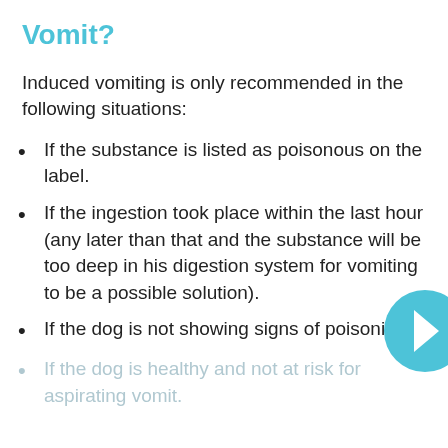Vomit?
Induced vomiting is only recommended in the following situations:
If the substance is listed as poisonous on the label.
If the ingestion took place within the last hour (any later than that and the substance will be too deep in his digestion system for vomiting to be a possible solution).
If the dog is not showing signs of poisoning.
If the dog is healthy and not at risk for aspirating vomit.